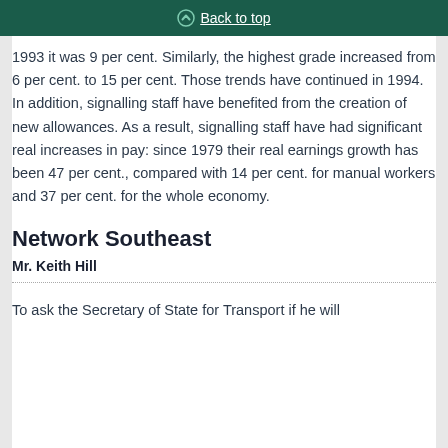Back to top
1993 it was 9 per cent. Similarly, the highest grade increased from 6 per cent. to 15 per cent. Those trends have continued in 1994. In addition, signalling staff have benefited from the creation of new allowances. As a result, signalling staff have had significant real increases in pay: since 1979 their real earnings growth has been 47 per cent., compared with 14 per cent. for manual workers and 37 per cent. for the whole economy.
Network Southeast
Mr. Keith Hill
To ask the Secretary of State for Transport if he will